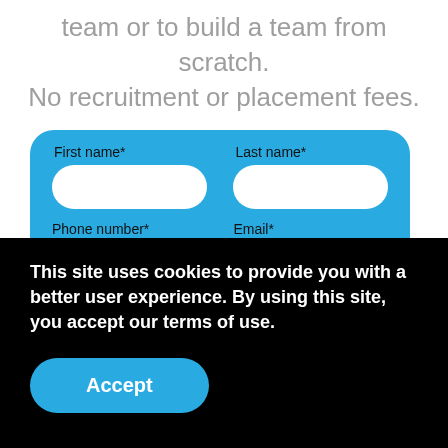team or to build a team from scratch. No recruitment or placement fees.
[Figure (screenshot): A web form on a blue card background with fields: First name*, Last name*, Phone number*, Email*]
This site uses cookies to provide you with a better user experience. By using this site, you accept our terms of use.
Accept